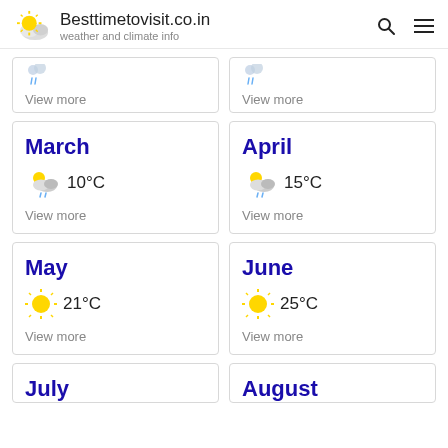Besttimetovisit.co.in — weather and climate info
View more (partial card left top)
View more (partial card right top)
March 10°C View more
April 15°C View more
May 21°C View more
June 25°C View more
July (partial)
August (partial)